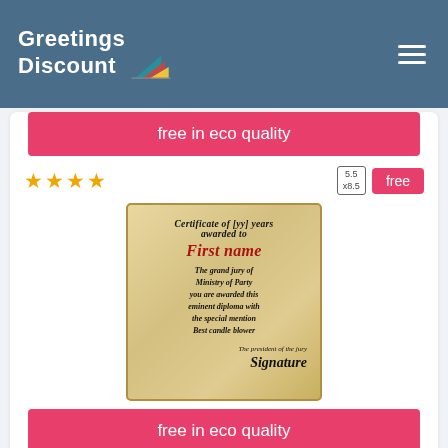Greetings Discount
free in eco quality
★★★★ | 5.5x8.5 | free
[Figure (illustration): Certificate of [yy] years awarded to First name. The grand jury of Ministry of Party you are awarded this eminent diploma with the special mention Best candle blower. The president of the jury. Signature.]
free in eco quality